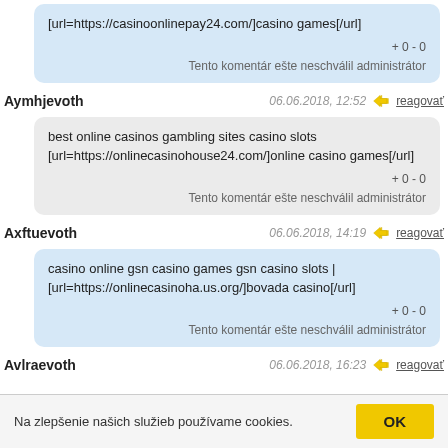[url=https://casinoonlinepay24.com/]casino games[/url]
+0-0
Tento komentár ešte neschválil administrátor
Aymhjevoth
06.06.2018, 12:52  reagovať
best online casinos gambling sites casino slots [url=https://onlinecasinohouse24.com/]online casino games[/url]
+0-0
Tento komentár ešte neschválil administrátor
Axftuevoth
06.06.2018, 14:19  reagovať
casino online gsn casino games gsn casino slots | [url=https://onlinecasinoha.us.org/]bovada casino[/url]
+0-0
Tento komentár ešte neschválil administrátor
Avlraevoth
06.06.2018, 16:23  reagovať
Na zlepšenie našich služieb používame cookies.